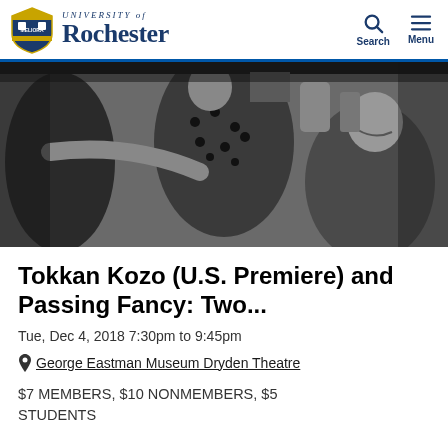University of Rochester
[Figure (photo): Black and white film still showing three people in traditional Japanese clothing in a dramatic scene]
Tokkan Kozo (U.S. Premiere) and Passing Fancy: Two...
Tue, Dec 4, 2018 7:30pm to 9:45pm
George Eastman Museum Dryden Theatre
$7 MEMBERS, $10 NONMEMBERS, $5 STUDENTS